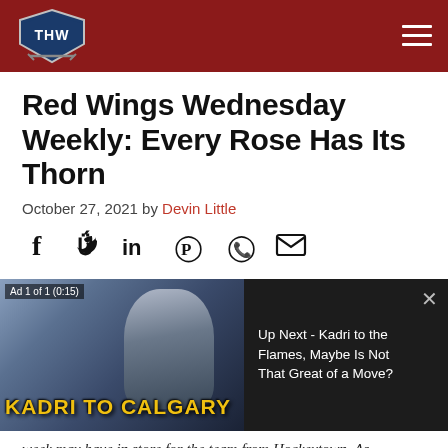THW - The Hockey Writers
Red Wings Wednesday Weekly: Every Rose Has Its Thorn
October 27, 2021 by Devin Little
[Figure (infographic): Social sharing icons: Facebook, Twitter, LinkedIn, Pinterest, WhatsApp, Email]
[Figure (screenshot): Video ad player showing 'KADRI TO CALGARY' with text 'Up Next - Kadri to the Flames, Maybe Is Not That Great of a Move?']
week may have in store for the team from Hockeytown. As